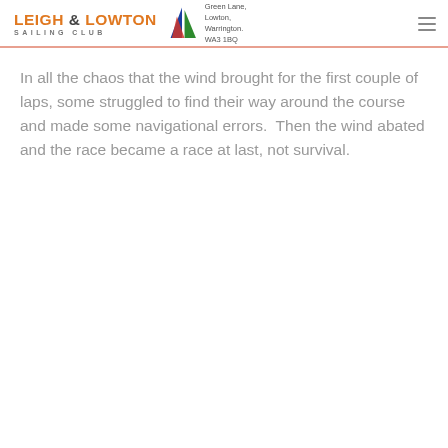LEIGH & LOWTON SAILING CLUB — Green Lane, Lowton, Warrington. WA3 1BQ
In all the chaos that the wind brought for the first couple of laps, some struggled to find their way around the course and made some navigational errors.  Then the wind abated and the race became a race at last, not survival.